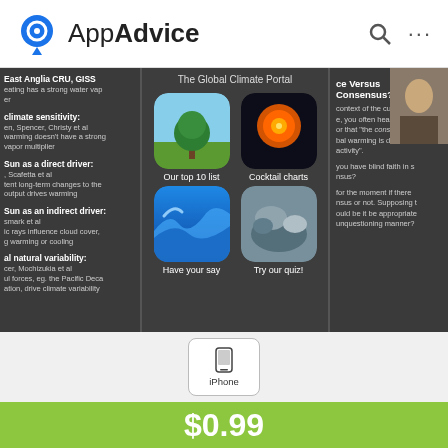AppAdvice
[Figure (screenshot): Three iPhone app screenshots side by side showing The Global Climate Portal app. Left screenshot shows a dark-themed list with topics like East Anglia CRU GISS, climate sensitivity, Sun as direct driver, Sun as indirect driver, natural variability. Center screenshot shows app home screen with The Global Climate Portal title, four grid items: Our top 10 list (tree icon), Cocktail charts (sun icon), Have your say (wave icon), Try our quiz! (rock/mountain icon), and bottom nav with Home, News, Climate 101, Settings. Right screenshot shows article text about Science Versus Consensus with partial portrait image.]
[Figure (screenshot): iPhone button selector showing iPhone option selected]
$0.99